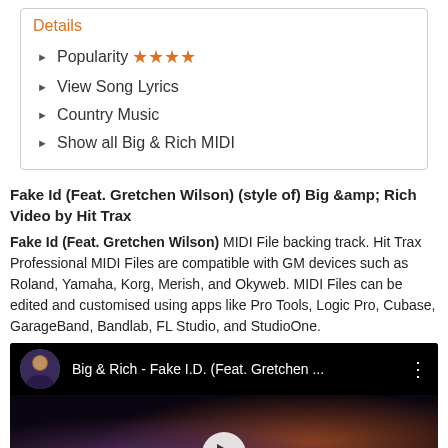Details
Popularity ★★★★
View Song Lyrics
Country Music
Show all Big & Rich MIDI
Fake Id (Feat. Gretchen Wilson) (style of) Big &amp; Rich Video by Hit Trax
Fake Id (Feat. Gretchen Wilson) MIDI File backing track. Hit Trax Professional MIDI Files are compatible with GM devices such as Roland, Yamaha, Korg, Merish, and Okyweb. MIDI Files can be edited and customised using apps like Pro Tools, Logic Pro, Cubase, GarageBand, Bandlab, FL Studio, and StudioOne.
[Figure (screenshot): Embedded YouTube video thumbnail showing Big & Rich - Fake I.D. (Feat. Gretchen Wilson) with a dark party scene and play button]